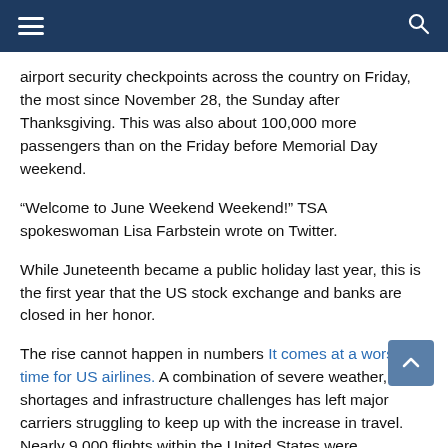navigation bar with hamburger menu and search icon
airport security checkpoints across the country on Friday, the most since November 28, the Sunday after Thanksgiving. This was also about 100,000 more passengers than on the Friday before Memorial Day weekend.
“Welcome to June Weekend Weekend!” TSA spokeswoman Lisa Farbstein wrote on Twitter.
While Juneteenth became a public holiday last year, this is the first year that the US stock exchange and banks are closed in her honor.
The rise cannot happen in numbers It comes at a worse time for US airlines. A combination of severe weather, staff shortages and infrastructure challenges has left major carriers struggling to keep up with the increase in travel. Nearly 9,000 flights within the United States were postponed Friday and others 1500 flights canceled According to the FlightAware dataset.
More than 850 flights were canceled on Saturday for each